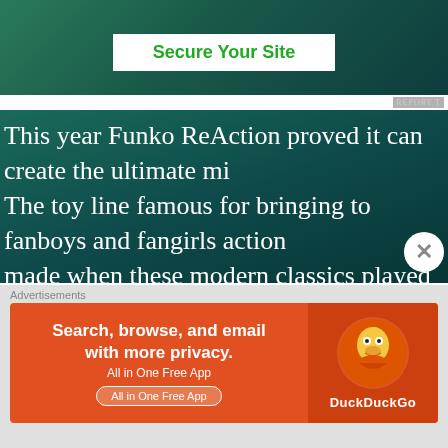[Figure (screenshot): Green advertisement banner at top with white button saying 'Secure Your Site']
This year Funko ReAction proved it can create the ultimate mi... The toy line famous for bringing to fanboys and fangirls action... made when these modern classics played in theaters has relea... and packaging for The Dark Crystal. The first figures from the u... reveal Funko's ReAction division's best work so far.
We first heard about the ReAction line working on a project to... of figures from The Dark Crystal here at borg.com way back in N... first retro line-up hit the market, featuring characters from Al... long way and proven to be a toy industry driver, particularly w... Pop! and Dorbz figures. The small yet surprisingly complete se... reminiscent of the successful and similarly small set of Raiders... the early 1980s. Kudos are owed to Nena Jiiomah, aka Quee...
Advertisements
[Figure (screenshot): DuckDuckGo advertisement: orange banner with text 'Search, browse, and email with more privacy. All in One Free App' and DuckDuckGo logo on right]